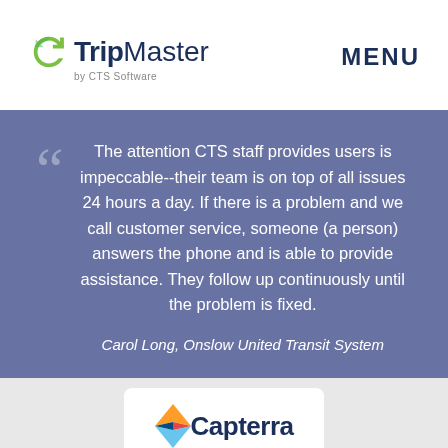[Figure (logo): TripMaster by CTS Software logo with circular arrow icon, bold dark blue 'Trip' text and light 'Master' text, with 'by CTS Software' subtitle]
MENU
The attention CTS staff provides users is impeccable--their team is on top of all issues 24 hours a day. If there is a problem and we call customer service, someone (a person) answers the phone and is able to provide assistance. They follow up continuously until the problem is fixed.
Carol Long, Onslow United Transit System
[Figure (logo): Capterra logo partially visible at bottom of page]